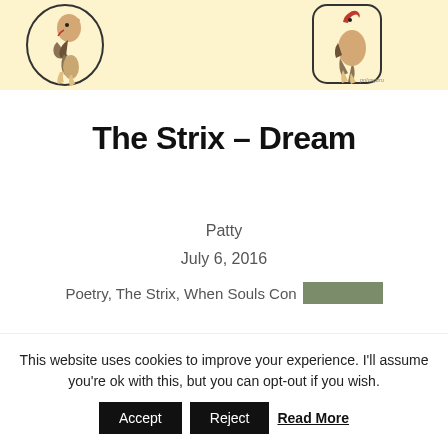[Figure (illustration): Two rooster/chicken illustrations on a pale yellow background. Left rooster in a circular frame, right rooster in a rounded rectangle frame. Small artist signature at bottom right of the illustration area.]
The Strix – Dream
Patty
July 6, 2016
Poetry, The Strix, When Souls Con [redacted block]
This website uses cookies to improve your experience. I'll assume you're ok with this, but you can opt-out if you wish. Accept Reject Read More